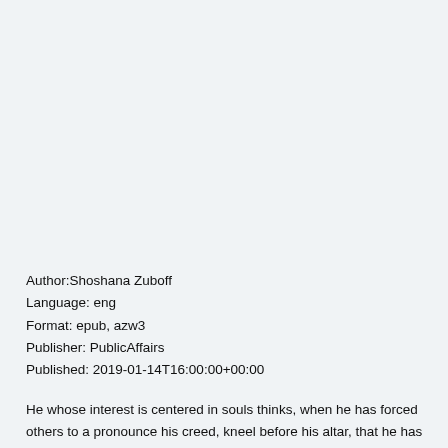Author:Shoshana Zuboff
Language: eng
Format: epub, azw3
Publisher: PublicAffairs
Published: 2019-01-14T16:00:00+00:00
He whose interest is centered in souls thinks, when he has forced others to pronounce his creed, kneel before his altar, that he has saved their souls, and he has merely forced their bodies… Political terrorism, too, has its main and